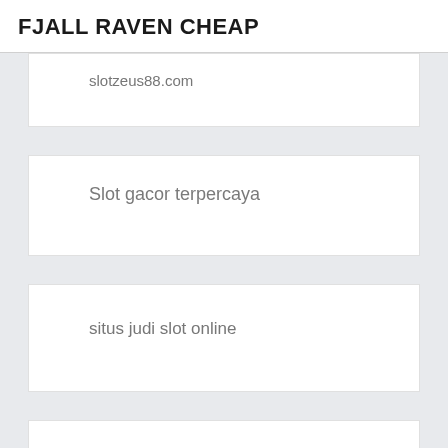FJALL RAVEN CHEAP
slotzeus88.com
Slot gacor terpercaya
situs judi slot online
slot88